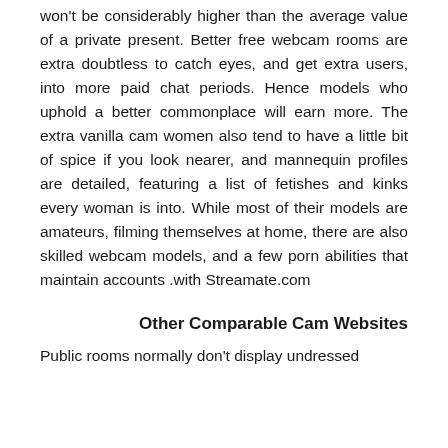won't be considerably higher than the average value of a private present. Better free webcam rooms are extra doubtless to catch eyes, and get extra users, into more paid chat periods. Hence models who uphold a better commonplace will earn more. The extra vanilla cam women also tend to have a little bit of spice if you look nearer, and mannequin profiles are detailed, featuring a list of fetishes and kinks every woman is into. While most of their models are amateurs, filming themselves at home, there are also skilled webcam models, and a few porn abilities that maintain accounts with Streamate.com.
Other Comparable Cam Websites
Public rooms normally don't display undressed